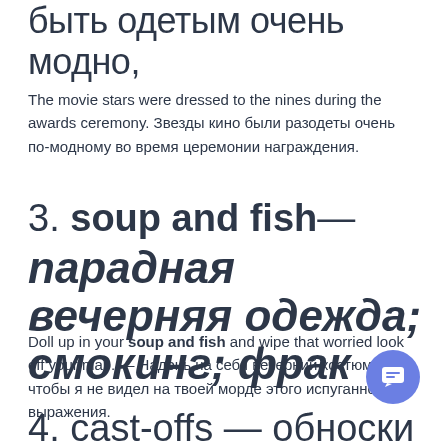быть одетым очень модно,
The movie stars were dressed to the nines during the awards ceremony. Звезды кино были разодеты очень по-модному во время церемонии награждения.
3. soup and fish— парадная вечерняя одежда; смокинг; фрак
Doll up in your soup and fish and wipe that worried look off your map. — Надень на себя вечерний костюм, и чтобы я не видел на твоей морде этого испуганного выражения.
4. cast-offs — обноски